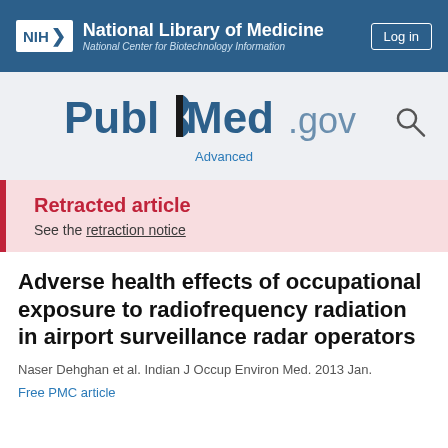NIH National Library of Medicine National Center for Biotechnology Information
[Figure (logo): PubMed.gov logo with search icon and Advanced link]
Retracted article
See the retraction notice
Adverse health effects of occupational exposure to radiofrequency radiation in airport surveillance radar operators
Naser Dehghan et al. Indian J Occup Environ Med. 2013 Jan.
Free PMC article